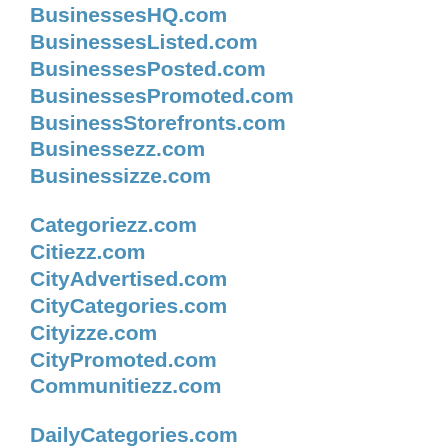BusinessesHQ.com
BusinessesListed.com
BusinessesPosted.com
BusinessesPromoted.com
BusinessStorefronts.com
Businessezz.com
Businessizze.com
Categoriezz.com
Citiezz.com
CityAdvertised.com
CityCategories.com
Cityizze.com
CityPromoted.com
Communitiezz.com
DailyCategories.com
Dailyizze.com